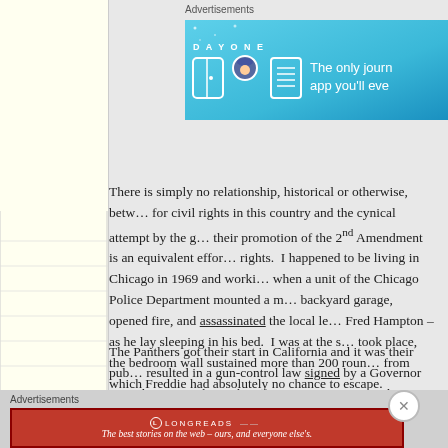[Figure (screenshot): DAY ONE app advertisement banner — blue background with icons and text 'The only jour... app you'll eve...']
There is simply no relationship, historical or otherwise, betw... for civil rights in this country and the cynical attempt by the g... their promotion of the 2nd Amendment is an equivalent effor... rights.  I happened to be living in Chicago in 1969 and worki... when a unit of the Chicago Police Department mounted a m... backyard garage, opened fire, and assassinated the local le... Fred Hampton – as he lay sleeping in his bed.  I was at the s... took place, the bedroom wall sustained more than 200 roun... from which Freddie had absolutely no chance to escape.
The Panthers got their start in California and it was their pub... resulted in a gun-control law signed by a Governor named R... arm themselves for protection against 'thugs.'  And if Colion... fighting for the 'rights' of minorities by prancing around for th...
Advertisements
[Figure (screenshot): Longreads advertisement — red background with text 'The best stories on the web – ours, and everyone else's.']